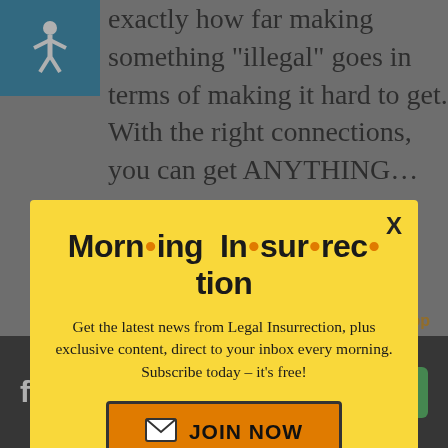[Figure (screenshot): Background webpage content with accessibility icon, article text partially visible at top]
[Figure (infographic): Modal popup with yellow background. Title: Morning Insurrection. Body text: Get the latest news from Legal Insurrection, plus exclusive content, direct to your inbox every morning. Subscribe today – it's free! With an orange JOIN NOW button.]
[Figure (screenshot): Bottom advertisement bar showing Fiverr logo and Start Now green button on dark background]